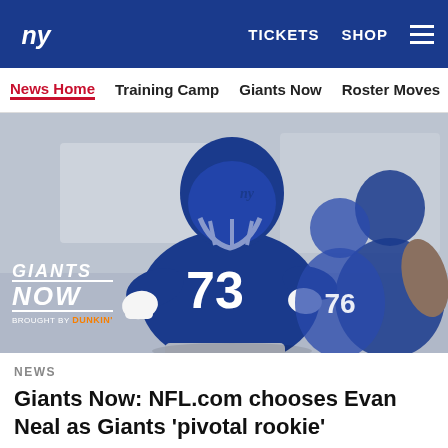NY Giants — TICKETS  SHOP  ☰
News Home  Training Camp  Giants Now  Roster Moves  Fact o
[Figure (photo): NFL player #73 in New York Giants blue jersey and helmet running at training camp, with Giants NOW / Brought by Dunkin' overlay logo in bottom left]
NEWS
Giants Now: NFL.com chooses Evan Neal as Giants 'pivotal rookie'
[Figure (infographic): Social share icons: Facebook, Twitter, Email, Link]